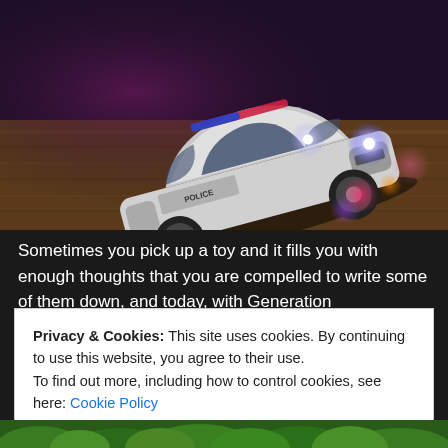[Figure (photo): A white toy police car with illuminated headlights and colorful LED lights reflecting on a wooden floor surface. The car has 'POLICE' written on it and appears to be photographed in a dark setting with pink and purple ambient lighting.]
Sometimes you pick up a toy and it fills you with enough thoughts that you are compelled to write some of them down, and today, with Generation
Privacy & Cookies: This site uses cookies. By continuing to use this website, you agree to their use.
To find out more, including how to control cookies, see here: Cookie Policy
Close and accept
[Figure (photo): Bottom strip showing green foliage/plants.]